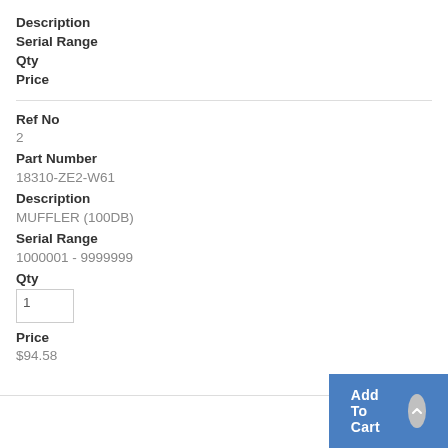Description
Serial Range
Qty
Price
Ref No
2
Part Number
18310-ZE2-W61
Description
MUFFLER (100DB)
Serial Range
1000001 - 9999999
Qty
1
Price
$94.58
Add To Cart